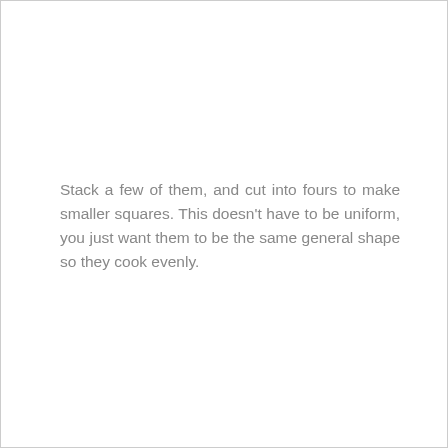Stack a few of them, and cut into fours to make smaller squares. This doesn't have to be uniform, you just want them to be the same general shape so they cook evenly.